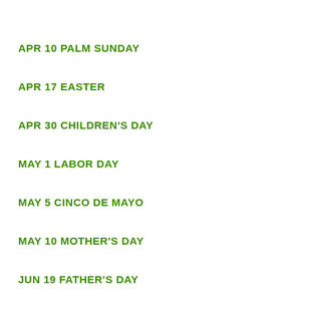APR 10 PALM SUNDAY
APR 17 EASTER
APR 30 CHILDREN'S DAY
MAY 1 LABOR DAY
MAY 5 CINCO DE MAYO
MAY 10 MOTHER'S DAY
JUN 19 FATHER'S DAY